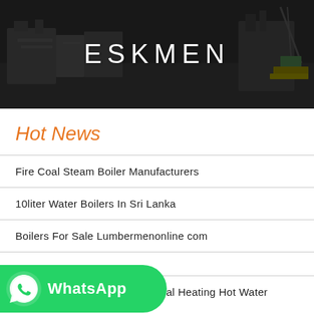[Figure (photo): Aerial/overhead view of industrial boiler equipment and machinery at a facility, darkened overlay with ESKMEN text overlay]
ESKMEN
Hot News
Fire Coal Steam Boiler Manufacturers
10liter Water Boilers In Sri Lanka
Boilers For Sale Lumbermenonline com
n com
[Figure (logo): WhatsApp green button with phone icon and WhatsApp text]
Wns Industrial coal Fired Central Heating Hot Water Boiler For Hotel